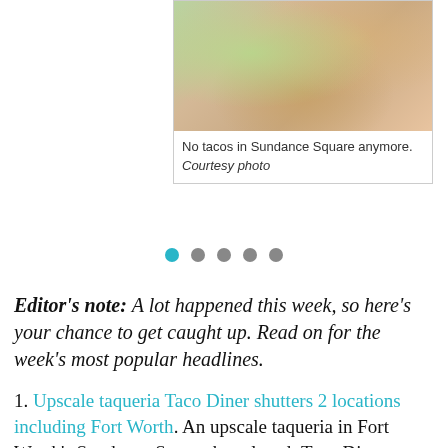[Figure (photo): Food photo showing tacos or a dish with vegetables, grilled items on a plate, partially cropped at top of page]
No tacos in Sundance Square anymore. Courtesy photo
Editor's note: A lot happened this week, so here's your chance to get caught up. Read on for the week's most popular headlines.
1. Upscale taqueria Taco Diner shutters 2 locations including Fort Worth. An upscale taqueria in Fort Worth's Sundance Square has closed: Taco Diner, which had been open at 156 W 4th St. for six years, closed the location on January 1, with a post on its website and Facebook page, announcing the sad shutter.